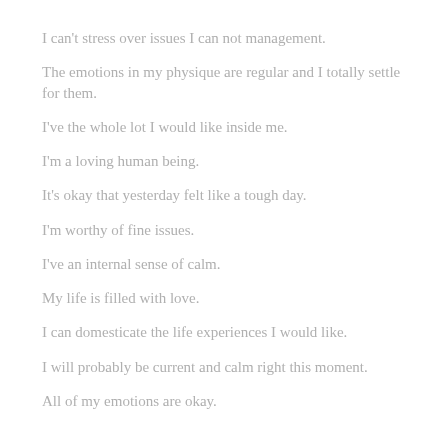I can't stress over issues I can not management.
The emotions in my physique are regular and I totally settle for them.
I've the whole lot I would like inside me.
I'm a loving human being.
It's okay that yesterday felt like a tough day.
I'm worthy of fine issues.
I've an internal sense of calm.
My life is filled with love.
I can domesticate the life experiences I would like.
I will probably be current and calm right this moment.
All of my emotions are okay.